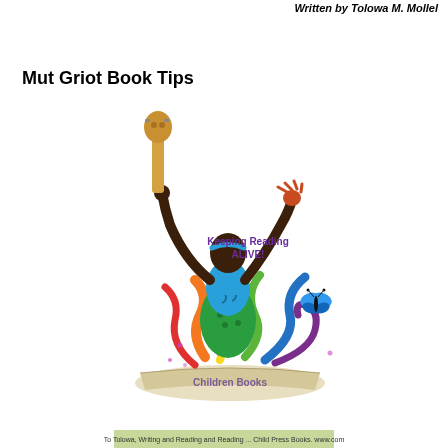Written by Tolowa M. Mollel
Mut Griot Book Tips
[Figure (illustration): A colorful illustration of a dark-skinned woman in a green and blue patterned dress, arms raised triumphantly, holding a guitar/instrument aloft in her left hand. She stands on an open book labeled 'Children Books' with colorful swirls (rainbow colors) emanating from the book. A butterfly appears to her right. Purple text reads 'Keeping Reading ALIVE!'.]
To Tolowa, Writing and Reading and Reading ... Child Press Books. www.com